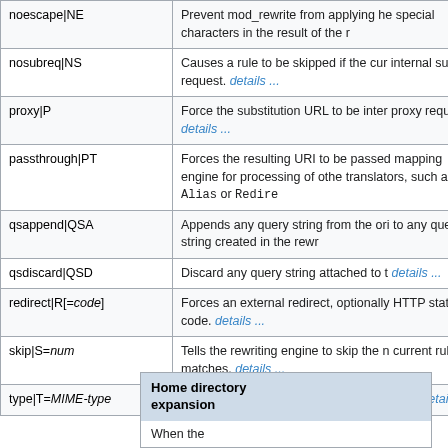| Flag | Description |
| --- | --- |
| noescape|NE | Prevent mod_rewrite from applying he special characters in the result of the r |
| nosubreq|NS | Causes a rule to be skipped if the cur internal sub-request. details ... |
| proxy|P | Force the substitution URL to be inter proxy request. details ... |
| passthrough|PT | Forces the resulting URI to be passed mapping engine for processing of othe translators, such as Alias or Redire |
| qsappend|QSA | Appends any query string from the ori to any query string created in the rew |
| qsdiscard|QSD | Discard any query string attached to t details ... |
| redirect|R[=code] | Forces an external redirect, optionally HTTP status code. details ... |
| skip|S=num | Tells the rewriting engine to skip the n current rule matches. details ... |
| type|T=MIME-type | Force the MIME-type of the target file type. details ... |
Home directory expansion
When the